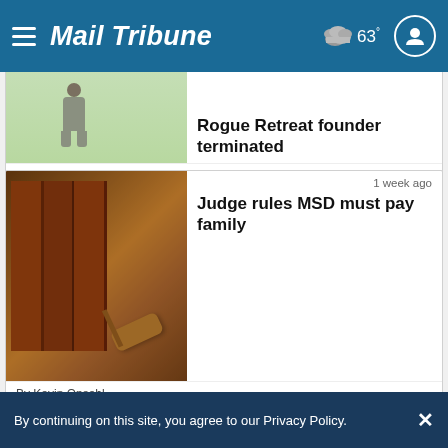Mail Tribune
Rogue Retreat founder terminated
By Buffy Pollock
1 week ago
Judge rules MSD must pay family
By Kevin Opsahl
6 days ago
Crews battle 60 lightning-sparked fires Thursday in Southern Oregon
By continuing on this site, you agree to our Privacy Policy.